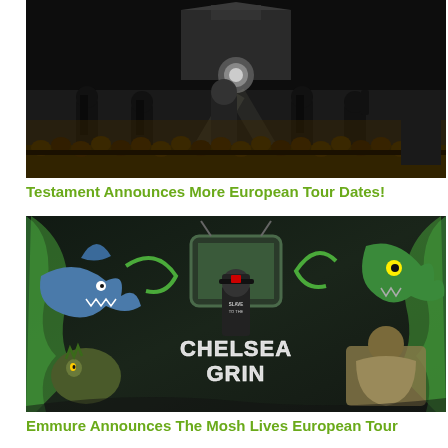[Figure (photo): Concert photo showing a band on stage from behind, with a massive crowd in front, outdoor night show with bright stage lighting and large crowd.]
Testament Announces More European Tour Dates!
[Figure (illustration): Chelsea Grin album/promotional artwork featuring stylized monster creatures, a figure in a 'Slave to the' shirt, with bold green illustrated lettering spelling 'Chelsea Grin'.]
Emmure Announces The Mosh Lives European Tour